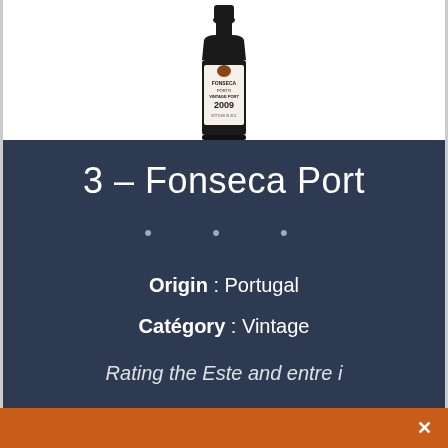[Figure (photo): A bottle of Fonseca Porto Vintage Port 2009 wine, dark bottle with label visible, shown against white background]
3 – Fonseca Port
• • •
Origin : Portugal
Catégory : Vintage
Rating the Este and entre i